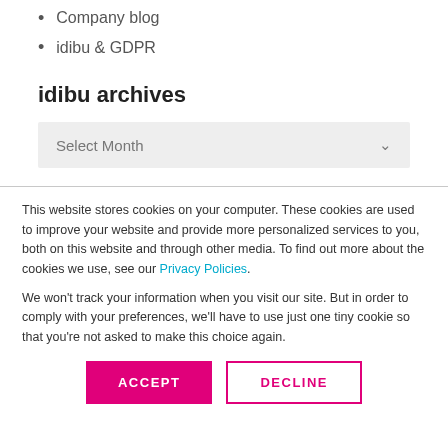Company blog
idibu & GDPR
idibu archives
Select Month
This website stores cookies on your computer. These cookies are used to improve your website and provide more personalized services to you, both on this website and through other media. To find out more about the cookies we use, see our Privacy Policies.
We won't track your information when you visit our site. But in order to comply with your preferences, we'll have to use just one tiny cookie so that you're not asked to make this choice again.
ACCEPT
DECLINE